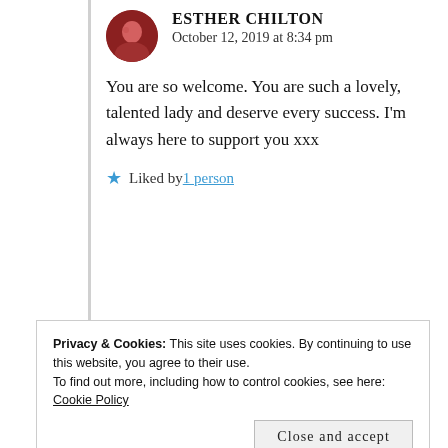ESTHER CHILTON
October 12, 2019 at 8:34 pm
You are so welcome. You are such a lovely, talented lady and deserve every success. I'm always here to support you xxx
★ Liked by 1 person
Privacy & Cookies: This site uses cookies. By continuing to use this website, you agree to their use.
To find out more, including how to control cookies, see here: Cookie Policy
Close and accept